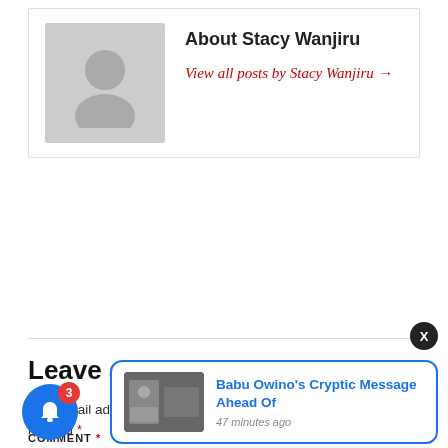About Stacy Wanjiru
View all posts by Stacy Wanjiru →
Leave a Reply
Your email address will not be published. Required fields are marked *
COMMENT *
[Figure (other): Blue notification bell icon with red badge showing 3]
[Figure (other): Notification popup showing 'Babu Owino's Cryptic Message Ahead Of' with thumbnail image and '47 minutes ago' timestamp]